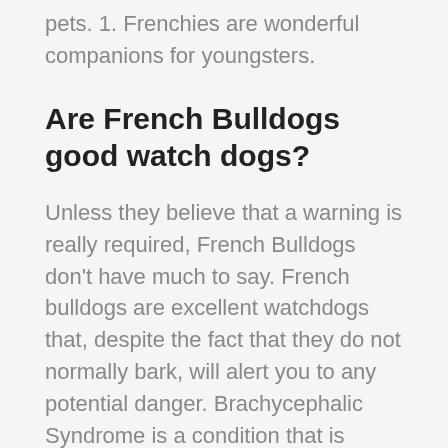pets. 1. Frenchies are wonderful companions for youngsters.
Are French Bulldogs good watch dogs?
Unless they believe that a warning is really required, French Bulldogs don't have much to say. French bulldogs are excellent watchdogs that, despite the fact that they do not normally bark, will alert you to any potential danger. Brachycephalic Syndrome is a condition that is associated with French Bulldogs due to the fact that they have a relatively